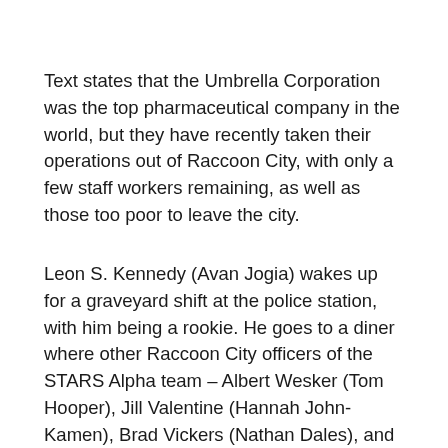Text states that the Umbrella Corporation was the top pharmaceutical company in the world, but they have recently taken their operations out of Raccoon City, with only a few staff workers remaining, as well as those too poor to leave the city.
Leon S. Kennedy (Avan Jogia) wakes up for a graveyard shift at the police station, with him being a rookie. He goes to a diner where other Raccoon City officers of the STARS Alpha team – Albert Wesker (Tom Hooper), Jill Valentine (Hannah John-Kamen), Brad Vickers (Nathan Dales), and Richard Aiken (Chad Hook) are hanging out. Two other officers – Kevin Dooley (Dylan Taylor) and Enrico Merini (Sammy Azero) – taunt Leon before they are called to investigate the Spencer Mansion. The rest of the officers head out, and Leon speaks to the waitress